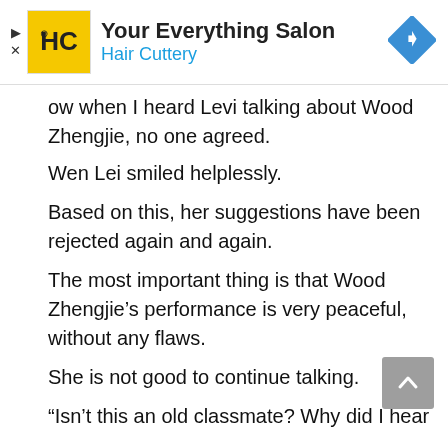[Figure (infographic): Advertisement banner for Hair Cuttery 'Your Everything Salon' with logo, title, subtitle in blue, and a blue navigation/direction diamond icon on the right. Small play and X controls on the left edge.]
ow when I heard Levi talking about Wood Zhengjie, no one agreed.
Wen Lei smiled helplessly.
Based on this, her suggestions have been rejected again and again.
The most important thing is that Wood Zhengjie's performance is very peaceful, without any flaws.
She is not good to continue talking.
“Isn’t this an old classmate? Why did I hear